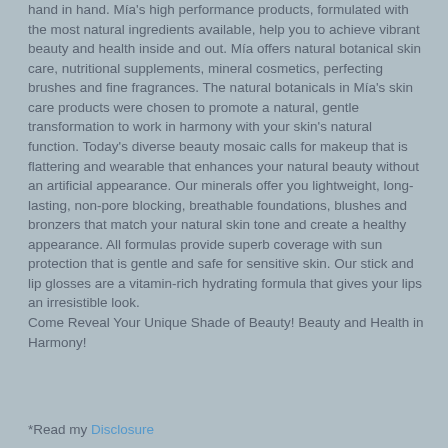hand in hand.  Mía's high performance products, formulated with the most natural ingredients available, help you to achieve vibrant beauty and health inside and out. Mía offers natural botanical skin care, nutritional supplements, mineral cosmetics, perfecting brushes and fine fragrances.  The natural botanicals in Mía's skin care products were chosen to promote a natural, gentle transformation to work in harmony with your skin's natural function.  Today's diverse beauty mosaic calls for makeup that is flattering and wearable that enhances your natural beauty without an artificial appearance.  Our minerals offer you lightweight, long-lasting, non-pore blocking, breathable foundations, blushes and bronzers that match your natural skin tone and create a healthy appearance.  All formulas provide superb coverage with sun protection that is gentle and safe for sensitive skin.  Our stick and lip glosses are a vitamin-rich hydrating formula that gives your lips an irresistible look. Come Reveal Your Unique Shade of Beauty!  Beauty and Health in Harmony!
*Read my Disclosure